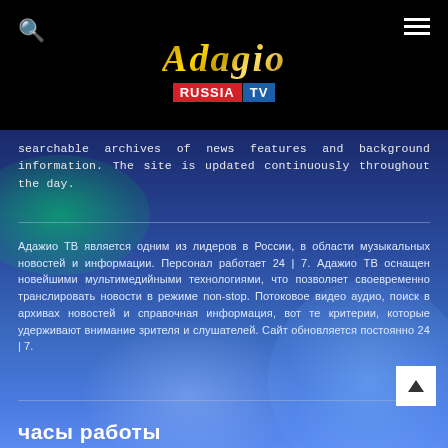[Figure (logo): Adagio Russia TV logo — gold italic script 'Adagio' above red 'RUSSIA' and blue 'TV' boxes, on black background with search and hamburger menu icons]
searchable archives of news features and background information. The site is updated continuously throughout the day.
Адажио ТВ является одним из лидеров в России, в области музыкальных новостей и информации. Персонал работает 24 | 7. Адажио ТВ оснащен новейшими мультимедийными технологиями, что позволяет своевременно транслировать новости в режиме non-stop. Потоковое видео аудио, поиск в архивах новостей и справочная информация, вот те критерии, которые удерживают внимание зрителя и слушателей. Сайт обновляется постоянно 24 | 7.
часы работы